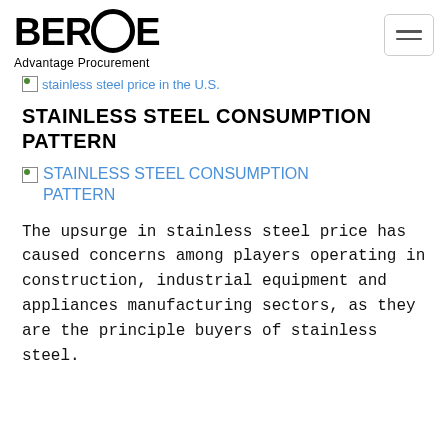BEROE Advantage Procurement
stainless steel price in the U.S.
STAINLESS STEEL CONSUMPTION PATTERN
[Figure (illustration): Broken image placeholder labelled STAINLESS STEEL CONSUMPTION PATTERN]
The upsurge in stainless steel price has caused concerns among players operating in construction, industrial equipment and appliances manufacturing sectors, as they are the principle buyers of stainless steel.